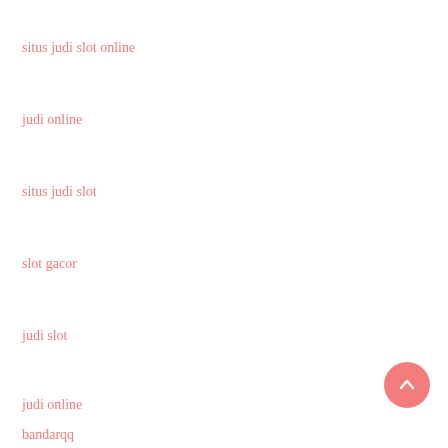situs judi slot online
judi online
situs judi slot
slot gacor
judi slot
judi online
bandarqq